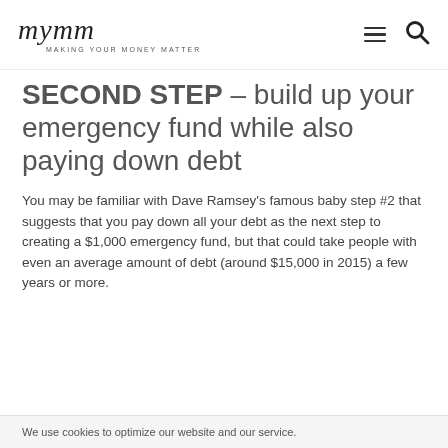mymm — MAKING YOUR MONEY MATTER
SECOND STEP – build up your emergency fund while also paying down debt
You may be familiar with Dave Ramsey's famous baby step #2 that suggests that you pay down all your debt as the next step to creating a $1,000 emergency fund, but that could take people with even an average amount of debt (around $15,000 in 2015) a few years or more.
We use cookies to optimize our website and our service.